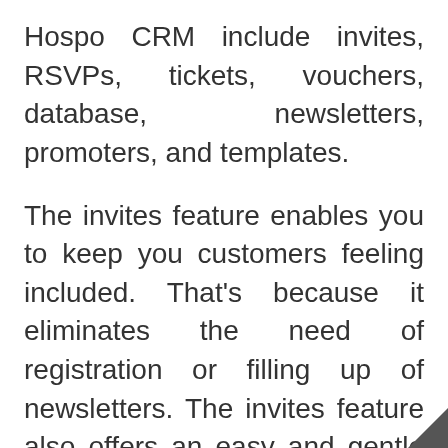Hospo CRM include invites, RSVPs, tickets, vouchers, database, newsletters, promoters, and templates.
The invites feature enables you to keep you customers feeling included. That's because it eliminates the need of registration or filling up of newsletters. The invites feature also offers an easy and gentle way of reminding your clients of the fun things happening at your venue.